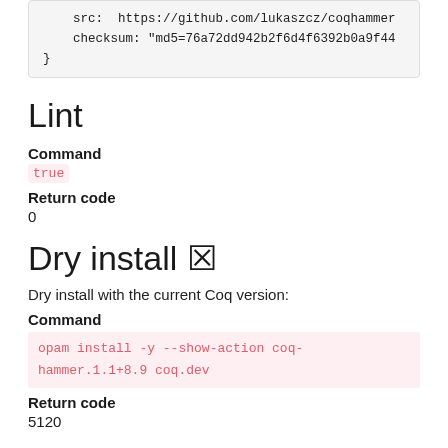src:  https://github.com/lukaszcz/coqhammer
    checksum: "md5=76a72dd942b2f6d4f6392b0a9f44
}
Lint
Command
true
Return code
0
Dry install ✗
Dry install with the current Coq version:
Command
opam install -y --show-action coq-hammer.1.1+8.9 coq.dev
Return code
5120